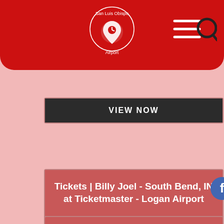San Luis Obispo Airport
VIEW NOW
Tickets | Billy Joel - South Bend, IN at Ticketmaster - Logan Airport
Billy Joel tickets for the piano man's 2019 concert at Old Trafford, Manchester ... Bradley Bartlett-Roche, the 13-year-old musician who calls himself the “Boston .
VIEW NOW